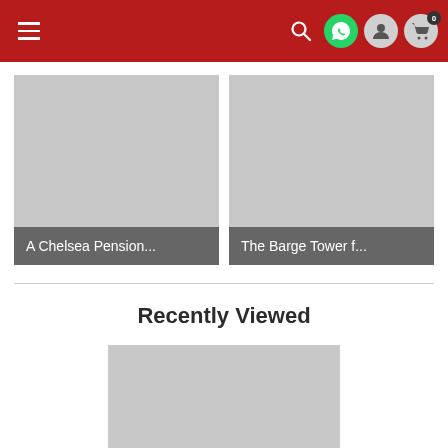[Figure (screenshot): Red navigation header bar with hamburger menu icon on the left and search, WhatsApp, account, and cart icons on the right]
[Figure (photo): Gray placeholder image card for 'A Chelsea Pension...' product]
A Chelsea Pension...
[Figure (photo): Gray placeholder image card for 'The Barge Tower f...' product]
The Barge Tower f...
Recently Viewed
[Figure (photo): Gray placeholder image card for a recently viewed product]